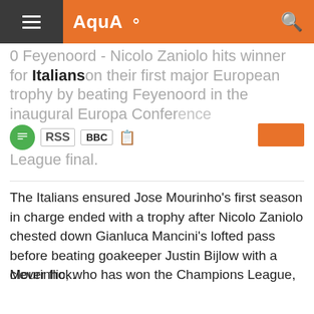AquA
0 Feyenoord - Nicolo Zaniolo hits winner for Italians on their first major European trophy by beating Feyenoord in the inaugural Europa Conference League final.
The Italians ensured Jose Mourinho's first season in charge ended with a trophy after Nicolo Zaniolo chested down Gianluca Mancini's lofted pass before beating goakeeper Justin Bijlow with a clever flick.
Mourinho, who has won the Champions League, Europa League and the Uefa Cup, is the first manager to win all of Uefa's major European trophies.
The Portuguese was criticised after Roma were embarrassed 6-1 in Norway by Bodo/Glimt in the group stage last October.
But this win continued the former Chelsea and Manchester United manager's perfect record in European finals, having now overseen five wins in five